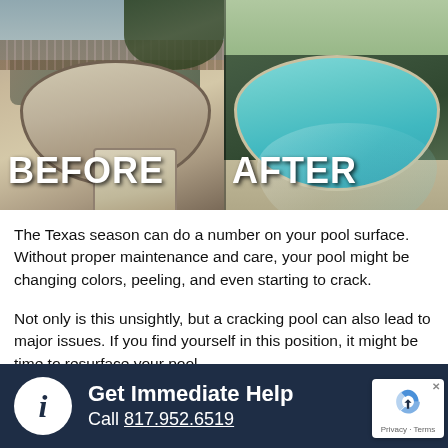[Figure (photo): Before and after comparison of pool resurfacing. Left side shows an empty, dirty, cracked pool labeled BEFORE. Right side shows a clean, full pool with blue water labeled AFTER.]
The Texas season can do a number on your pool surface. Without proper maintenance and care, your pool might be changing colors, peeling, and even starting to crack.
Not only is this unsightly, but a cracking pool can also lead to major issues. If you find yourself in this position, it might be time to resurface your pool.
Get Immediate Help
Call 817.952.6519